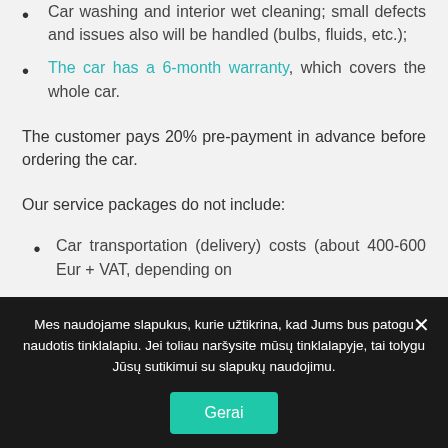Car washing and interior wet cleaning; small defects and issues also will be handled (bulbs, fluids, etc.);
The car has a 6-month warranty, which covers the whole car.
The customer pays 20% pre-payment in advance before ordering the car.
Our service packages do not include:
Car transportation (delivery) costs (about 400-600 Eur + VAT, depending on
Mes naudojame slapukus, kurie užtikrina, kad Jums bus patogu naudotis tinklalapiu. Jei toliau naršysite mūsų tinklalapyje, tai tolygu Jūsų sutikimui su slapukų naudojimu.
Gerai